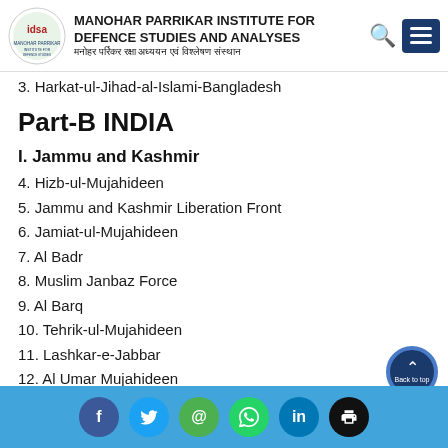MANOHAR PARRIKAR INSTITUTE FOR DEFENCE STUDIES AND ANALYSES
3. Harkat-ul-Jihad-al-Islami-Bangladesh
Part-B INDIA
I. Jammu and Kashmir
4. Hizb-ul-Mujahideen
5. Jammu and Kashmir Liberation Front
6. Jamiat-ul-Mujahideen
7. Al Badr
8. Muslim Janbaz Force
9. Al Barq
10. Tehrik-ul-Mujahideen
11. Lashkar-e-Jabbar
12. Al Umar Mujahideen
Social media icons: Facebook, Twitter, Email, WhatsApp, LinkedIn, Print